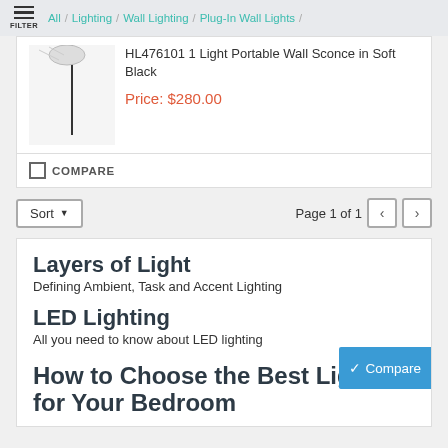FILTER / All / Lighting / Wall Lighting / Plug-In Wall Lights /
HL476101 1 Light Portable Wall Sconce in Soft Black
Price: $280.00
COMPARE
Sort   Page 1 of 1
Layers of Light
Defining Ambient, Task and Accent Lighting
LED Lighting
All you need to know about LED lighting
How to Choose the Best Lighting for Your Bedroom